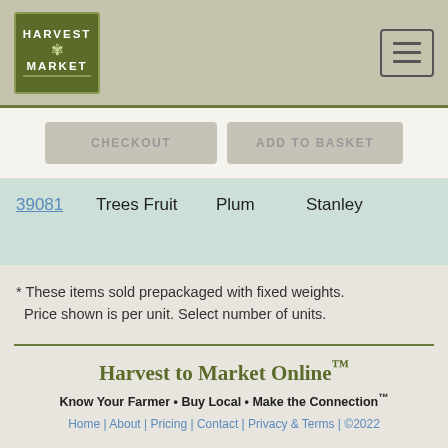[Figure (logo): Harvest Market logo in olive green with white text]
CHECKOUT  ADD TO BASKET
| ID | Category | Subcategory | Variety |
| --- | --- | --- | --- |
| 39081 | Trees Fruit | Plum | Stanley |
* These items sold prepackaged with fixed weights. Price shown is per unit. Select number of units.
Harvest to Market Online™
Know Your Farmer • Buy Local • Make the Connection™
Home | About | Pricing | Contact | Privacy & Terms | ©2022